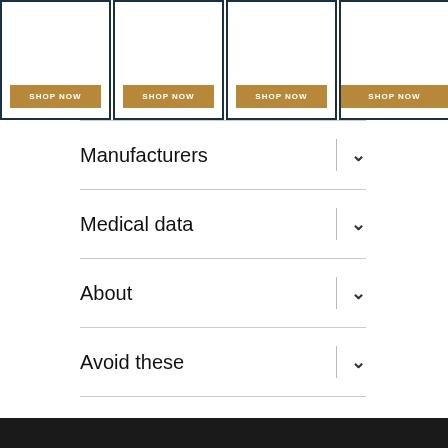[Figure (screenshot): Four product cards with dark teal borders, each containing a 'SHOP NOW' button in gold/brown color at the bottom.]
Manufacturers ∨
Medical data ∨
About ∨
Avoid these ∨
HairFacts | Hair Removal Information / Proudly powered by WordPress